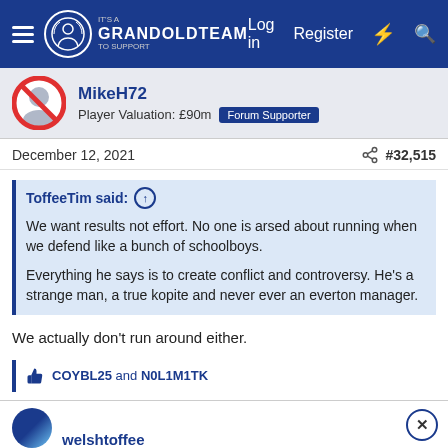GrandOldTeam — Log in  Register
MikeH72
Player Valuation: £90m  Forum Supporter
December 12, 2021  #32,515
ToffeeTim said:
We want results not effort. No one is arsed about running when we defend like a bunch of schoolboys.

Everything he says is to create conflict and controversy. He's a strange man, a true kopite and never ever an everton manager.
We actually don't run around either.
COYBL25 and N0L1M1TK
welshtoffee